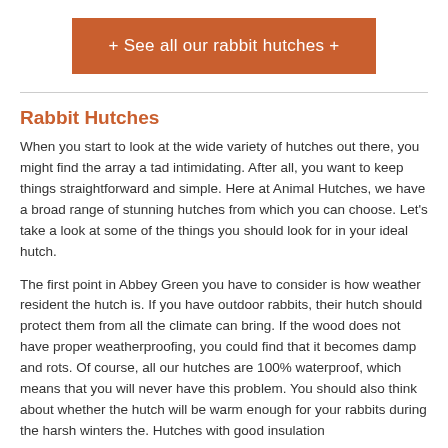[Figure (other): Orange/burnt-orange rectangular button with white text reading '+ See all our rabbit hutches +']
Rabbit Hutches
When you start to look at the wide variety of hutches out there, you might find the array a tad intimidating. After all, you want to keep things straightforward and simple. Here at Animal Hutches, we have a broad range of stunning hutches from which you can choose. Let's take a look at some of the things you should look for in your ideal hutch.
The first point in Abbey Green you have to consider is how weather resident the hutch is. If you have outdoor rabbits, their hutch should protect them from all the climate can bring. If the wood does not have proper weatherproofing, you could find that it becomes damp and rots. Of course, all our hutches are 100% waterproof, which means that you will never have this problem. You should also think about whether the hutch will be warm enough for your rabbits during the harsh winters the. Hutches with good insulation...